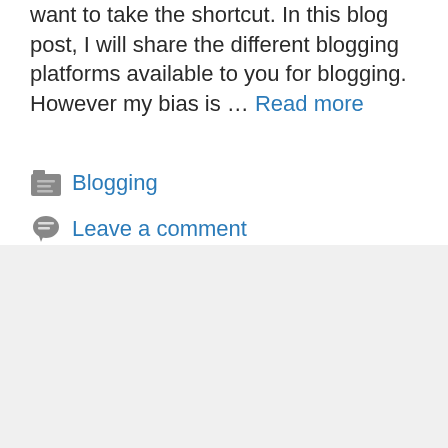want to take the shortcut. In this blog post, I will share the different blogging platforms available to you for blogging. However my bias is … Read more
Blogging
Leave a comment